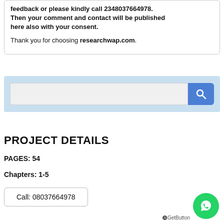feedback or please kindly call 2348037664978. Then your comment and contact will be published here also with your consent.

Thank you for choosing researchwap.com.
[Figure (screenshot): Search bar widget with blue background, text input field, and blue search button with magnifying glass icon]
PROJECT DETAILS
PAGES: 54
Chapters: 1-5
Call: 08037664978